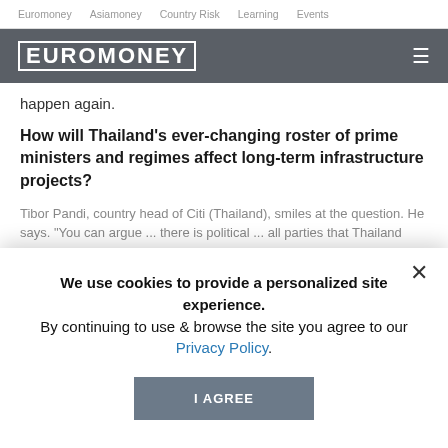Euromoney   Asiamoney   Country Risk   Learning   Events
[Figure (logo): Euromoney logo in white text on dark grey bar with hamburger menu icon]
happen again.
How will Thailand's ever-changing roster of prime ministers and regimes affect long-term infrastructure projects?
Tibor Pandi, country head of Citi (Thailand), smiles at the question. He says. "You can argue ... there is political ... all parties that Thailand needs to shop, it needs to remain self-sufficient and economically independent from other countries ... stability. There is an understanding that business needs to go on."